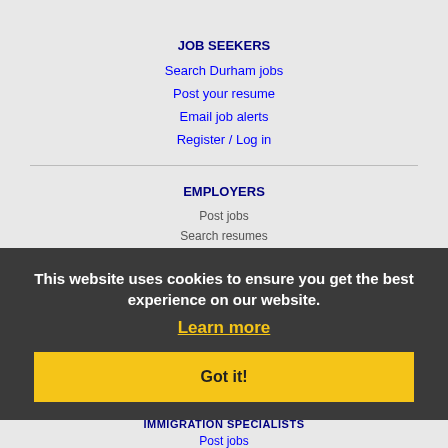JOB SEEKERS
Search Durham jobs
Post your resume
Email job alerts
Register / Log in
EMPLOYERS
Post jobs
Search resumes
Email resume alerts
Advertise
This website uses cookies to ensure you get the best experience on our website.
Learn more
Got it!
IMMIGRATION SPECIALISTS
Post jobs